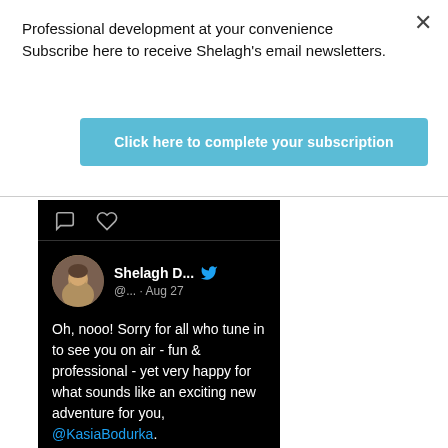Professional development at your convenience Subscribe here to receive Shelagh's email newsletters.
Click here to complete your subscription
[Figure (screenshot): A Twitter/social media post screenshot on dark background. Shows tweet icons (comment and heart) at top, then a profile with avatar photo of a woman, username 'Shelagh D...' with Twitter bird icon, handle '@... · Aug 27'. Tweet text reads: 'Oh, nooo! Sorry for all who tune in to see you on air - fun & professional - yet very happy for what sounds like an exciting new adventure for you, @KasiaBodurka. We'll miss you. All the best, & thank you for so graciously sharing my pics']